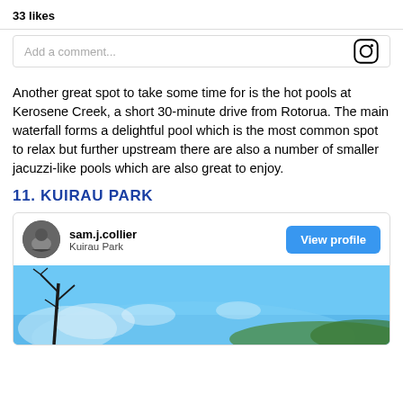33 likes
Add a comment...
Another great spot to take some time for is the hot pools at Kerosene Creek, a short 30-minute drive from Rotorua. The main waterfall forms a delightful pool which is the most common spot to relax but further upstream there are also a number of smaller jacuzzi-like pools which are also great to enjoy.
11. KUIRAU PARK
[Figure (screenshot): Instagram-style post card with avatar for sam.j.collier, location Kuirau Park, a blue View profile button, and a photo showing bare tree branches against a blue sky with mist or steam in the background]